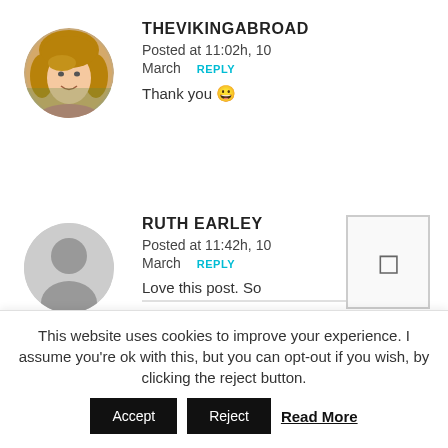[Figure (photo): Circular avatar photo of a young woman with long blonde hair, smiling outdoors]
THEVIKINGABROAD
Posted at 11:02h, 10 March REPLY
Thank you 😀
[Figure (photo): Default grey user avatar silhouette icon]
RUTH EARLEY
Posted at 11:42h, 10 March REPLY
Love this post. So
This website uses cookies to improve your experience. I assume you're ok with this, but you can opt-out if you wish, by clicking the reject button. Accept Reject Read More